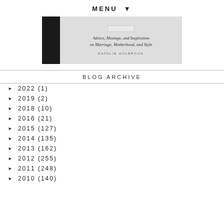MENU ▼
[Figure (illustration): Book cover banner showing a black spine on the left and light gray area with italic subtitle 'Advice, Musings, and Inspiration on Marriage, Motherhood, and Style' and author name 'NATALIE HOLBROOK']
BLOG ARCHIVE
► 2022 (1)
► 2019 (2)
► 2018 (10)
► 2016 (21)
► 2015 (127)
► 2014 (135)
► 2013 (162)
► 2012 (255)
► 2011 (248)
► 2010 (140)